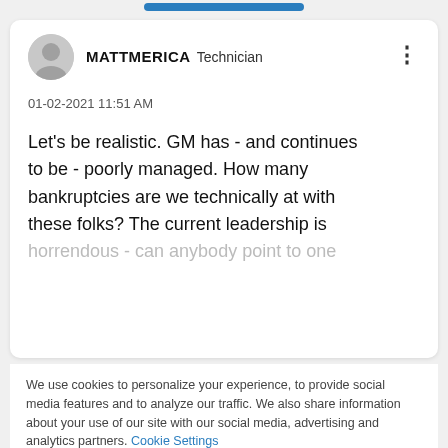MATTMERICA  Technician
01-02-2021 11:51 AM
Let's be realistic. GM has - and continues to be - poorly managed. How many bankruptcies are we technically at with these folks? The current leadership is horrendous - can anybody point to one
We use cookies to personalize your experience, to provide social media features and to analyze our traffic. We also share information about your use of our site with our social media, advertising and analytics partners. Cookie Settings
Accept All Cookies